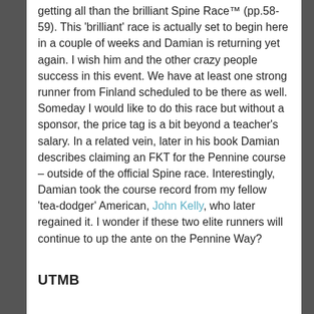getting all than the brilliant Spine Race™ (pp.58-59). This 'brilliant' race is actually set to begin here in a couple of weeks and Damian is returning yet again. I wish him and the other crazy people success in this event. We have at least one strong runner from Finland scheduled to be there as well. Someday I would like to do this race but without a sponsor, the price tag is a bit beyond a teacher's salary. In a related vein, later in his book Damian describes claiming an FKT for the Pennine course – outside of the official Spine race. Interestingly, Damian took the course record from my fellow 'tea-dodger' American, John Kelly, who later regained it. I wonder if these two elite runners will continue to up the ante on the Pennine Way?
UTMB